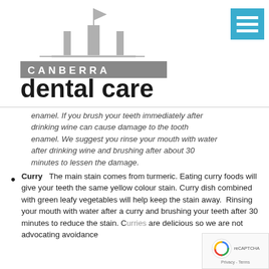[Figure (logo): Canberra Dental Care logo with stylized building/flag icon above text reading CANBERRA in a grey banner and 'dental care' in large bold black lowercase letters]
[Figure (other): Teal/blue hamburger menu icon (three horizontal white bars on blue background) in the top right corner]
enamel. If you brush your teeth immediately after drinking wine can cause damage to the tooth enamel. We suggest you rinse your mouth with water after drinking wine and brushing after about 30 minutes to lessen the damage.
Curry   The main stain comes from turmeric. Eating curry foods will give your teeth the same yellow colour stain. Curry dish combined with green leafy vegetables will help keep the stain away.  Rinsing your mouth with water after a curry and brushing your teeth after 30 minutes to reduce the stain. Curries are delicious so we are not advocating avoidance